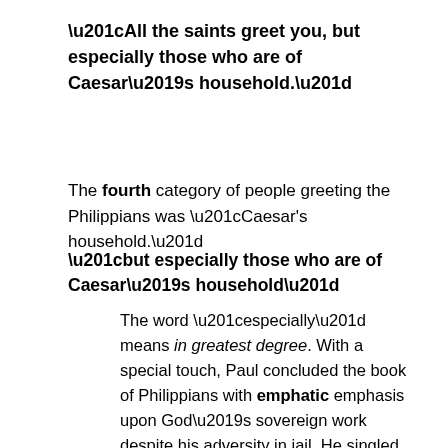“All the saints greet you, but especially those who are of Caesar’s household.”
The fourth category of people greeting the Philippians was “Caesar’s household.”
“but especially those who are of Caesar’s household”
The word “especially” means in greatest degree. With a special touch, Paul concluded the book of Philippians with emphatic emphasis upon God’s sovereign work despite his adversity in jail. He singled out the Praetorian Guard for special mention.